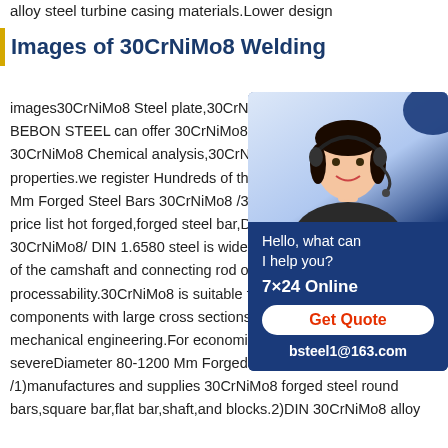alloy steel turbine casing materials.Lower design
Images of 30CrNiMo8 Welding
images30CrNiMo8 Steel plate,30CrNiMo8 BEBON STEEL can offer 30CrNiMo8 ste 30CrNiMo8 Chemical analysis,30CrNiMo properties.we register Hundreds of thous Mm Forged Steel Bars 30CrNiMo8 /30Cr price list hot forged,forged steel bar,DIA8 30CrNiMo8/ DIN 1.6580 steel is widely u of the camshaft and connecting rod of en processability.30CrNiMo8 is suitable for permanently stressed components with large cross sections for automotive and mechanical engineering.For economic performance under severeDiameter 80-1200 Mm Forged Steel Bars 30CrNiMo8 /1)manufactures and supplies 30CrNiMo8 forged steel round bars,square bar,flat bar,shaft,and blocks.2)DIN 30CrNiMo8 alloy
[Figure (photo): Customer service representative wearing headset with chat widget overlay showing 'Hello, what can I help you?', '7×24 Online', 'Get Quote' button, and 'bsteel1@163.com']